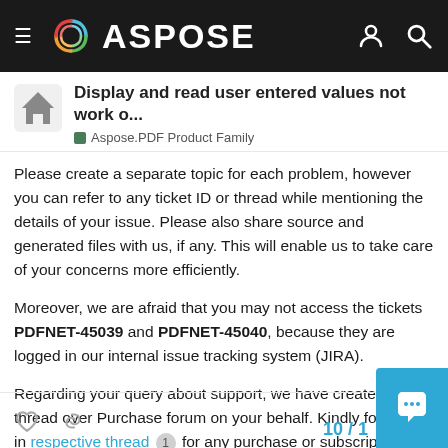ASPOSE
Display and read user entered values not work o...
Aspose.PDF Product Family
Please create a separate topic for each problem, however you can refer to any ticket ID or thread while mentioning the details of your issue. Please also share source and generated files with us, if any. This will enable us to take care of your concerns more efficiently.
Moreover, we are afraid that you may not access the tickets PDFNET-45039 and PDFNET-45040, because they are logged in our internal issue tracking system (JIRA).
Regarding your query about support, we have created a thread over Purchase forum on your behalf. Kindly follow up in respective thread 1 for any purchase or subscription related information.
10 / 1…